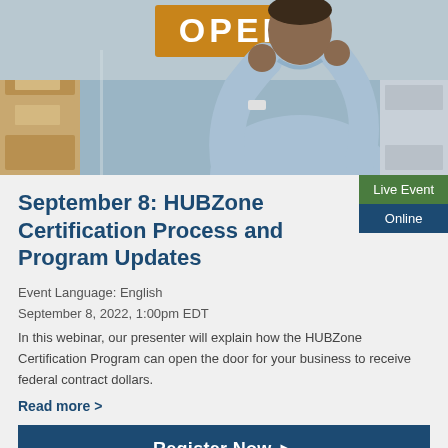[Figure (photo): A man in a light blue shirt holding up an orange OPEN sign, photographed from below against a blurred background of shelving and boxes.]
September 8: HUBZone Certification Process and Program Updates
Live Event
Online
Event Language: English
September 8, 2022, 1:00pm EDT
In this webinar, our presenter will explain how the HUBZone Certification Program can open the door for your business to receive federal contract dollars.
Read more >
Register Now ▶